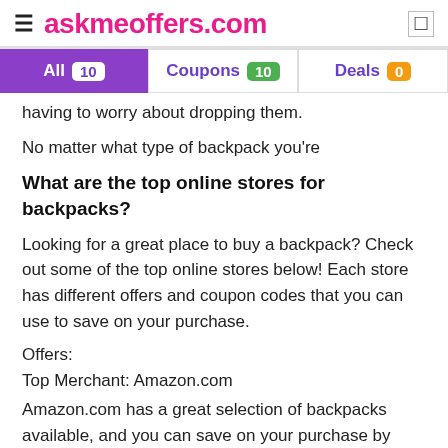≡ askmeoffers.com
All 10  Coupons 10  Deals 0
having to worry about dropping them.
No matter what type of backpack you're
What are the top online stores for backpacks?
Looking for a great place to buy a backpack? Check out some of the top online stores below! Each store has different offers and coupon codes that you can use to save on your purchase.
Offers:
Top Merchant: Amazon.com
Amazon.com has a great selection of backpacks available, and you can save on your purchase by using the following